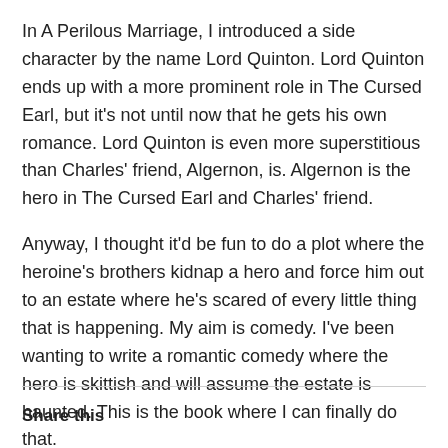In A Perilous Marriage, I introduced a side character by the name Lord Quinton. Lord Quinton ends up with a more prominent role in The Cursed Earl, but it's not until now that he gets his own romance. Lord Quinton is even more superstitious than Charles' friend, Algernon, is. Algernon is the hero in The Cursed Earl and Charles' friend.
Anyway, I thought it'd be fun to do a plot where the heroine's brothers kidnap a hero and force him out to an estate where he's scared of every little thing that is happening. My aim is comedy. I've been wanting to write a romantic comedy where the hero is skittish and will assume the estate is haunted. This is the book where I can finally do that.
Share this